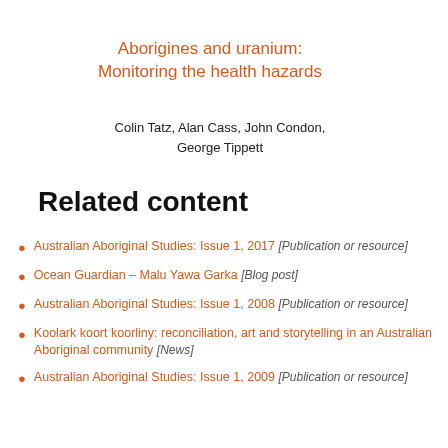Aborigines and uranium: Monitoring the health hazards
Colin Tatz, Alan Cass, John Condon, George Tippett
Related content
Australian Aboriginal Studies: Issue 1, 2017 [Publication or resource]
Ocean Guardian – Malu Yawa Garka [Blog post]
Australian Aboriginal Studies: Issue 1, 2008 [Publication or resource]
Koolark koort koorliny: reconciliation, art and storytelling in an Australian Aboriginal community [News]
Australian Aboriginal Studies: Issue 1, 2009 [Publication or resource]